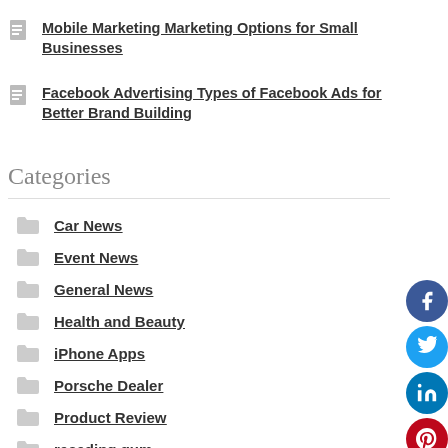Mobile Marketing Marketing Options for Small Businesses
Facebook Advertising Types of Facebook Ads for Better Brand Building
Categories
Car News
Event News
General News
Health and Beauty
iPhone Apps
Porsche Dealer
Product Review
receding gum